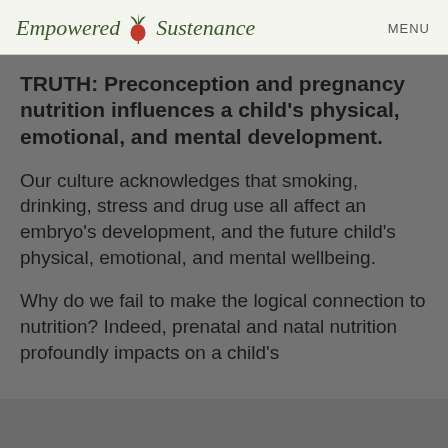Empowered Sustenance  MENU
TRUTH: Preconception and pregnancy nutrition influences a child's physical, emotional, and mental development.
Our culture acknowledges that smoking, drinking, stress and drug use all affect an embryo's development, and the future child's physical, emotional, and mental wellbeing.
Why do we fail to make the logical connection to nutrition? Indeed, prenatal and natal nutrition profoundly impacts on a child's